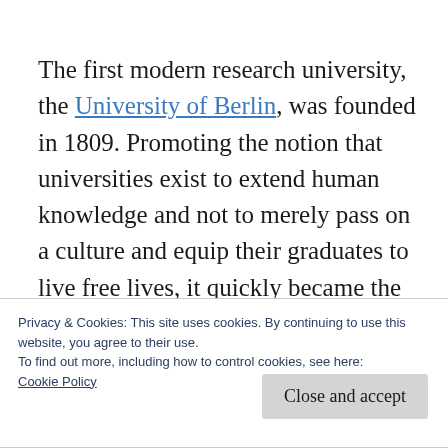The first modern research university, the University of Berlin, was founded in 1809. Promoting the notion that universities exist to extend human knowledge and not to merely pass on a culture and equip their graduates to live free lives, it quickly became the model for universities in Europe and America. Before 1900, all the major US Universities had adopted the Prussian University Model: research was
Privacy & Cookies: This site uses cookies. By continuing to use this website, you agree to their use.
To find out more, including how to control cookies, see here:
Cookie Policy
Close and accept